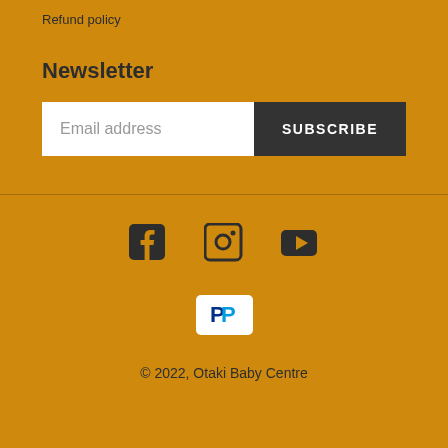Refund policy
Newsletter
Email address
SUBSCRIBE
[Figure (other): Social media icons: Facebook, Instagram, YouTube]
[Figure (other): PayPal payment badge]
© 2022, Otaki Baby Centre